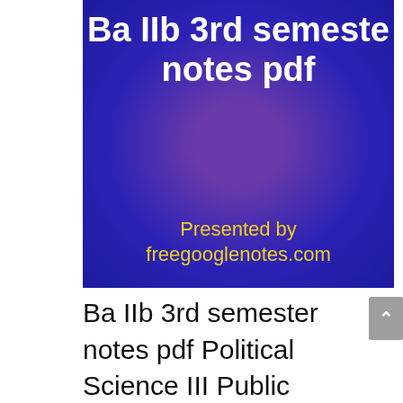[Figure (illustration): A dark blue/purple gradient banner image with white bold text reading 'Ba IIb 3rd semeste notes pdf' and yellow text reading 'Presented by freegooglenotes.com']
Ba IIb 3rd semester notes pdf Political Science III Public Administration